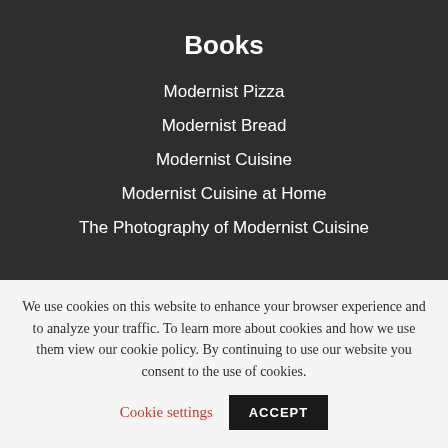Books
Modernist Pizza
Modernist Bread
Modernist Cuisine
Modernist Cuisine at Home
The Photography of Modernist Cuisine
We use cookies on this website to enhance your browser experience and to analyze your traffic. To learn more about cookies and how we use them view our cookie policy. By continuing to use our website you consent to the use of cookies.
Cookie settings
ACCEPT